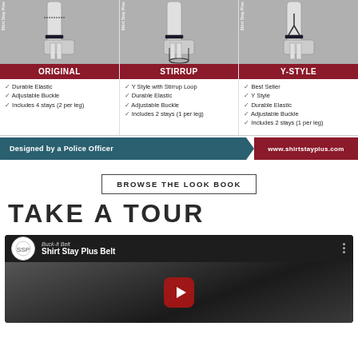[Figure (infographic): Product comparison showing three shirt stay styles: Original, Stirrup, and Y-Style, each with an illustration of a leg/ankle with the product, a dark red label bar, and bullet point features listed below.]
Durable Elastic
Adjustable Buckle
Includes 4 stays (2 per leg)
Y Style with Stirrup Loop
Durable Elastic
Adjustable Buckle
Includes 2 stays (1 per leg)
Best Seller
Y Style
Durable Elastic
Adjustable Buckle
Includes 2 stays (1 per leg)
[Figure (infographic): Banner: 'Designed by a Police Officer' on teal background with arrow pointing to 'www.shirtstayplus.com' on dark red background]
BROWSE THE LOOK BOOK
TAKE A TOUR
[Figure (screenshot): YouTube video thumbnail for 'Shirt Stay Plus Belt' video showing a dark background with play button, channel logo, and video title.]